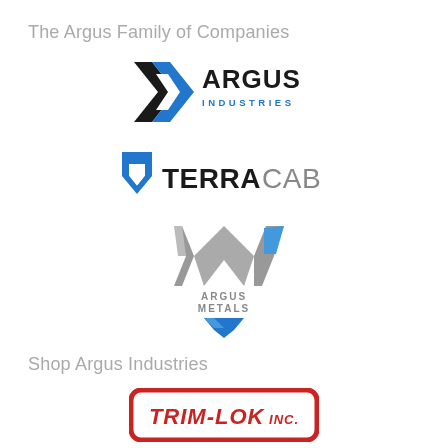The Argus Family of Companies
[Figure (logo): Argus Industries logo with blue chevron/arrow and text ARGUS INDUSTRIES]
[Figure (logo): TerraCab logo with blue shield/chevron icon and text TERRACAB]
[Figure (logo): Argus Metals logo with silver M lettermark, text ARGUS METALS, and blue downward chevron]
Shop Argus Industries
[Figure (logo): Trim-Lok Inc. logo with red rounded rectangle border and stylized text TRIM-LOK INC.]